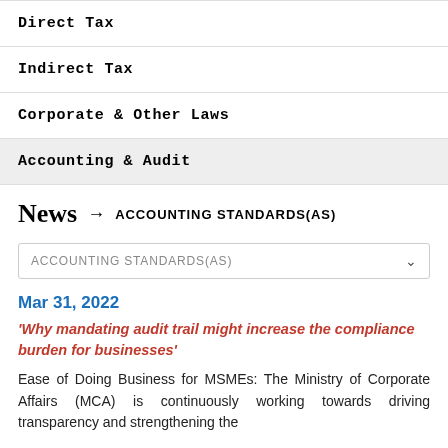Direct Tax
Indirect Tax
Corporate & Other Laws
Accounting & Audit
News → ACCOUNTING STANDARDS(AS)
ACCOUNTING STANDARDS(AS)
Mar 31, 2022
'Why mandating audit trail might increase the compliance burden for businesses'
Ease of Doing Business for MSMEs: The Ministry of Corporate Affairs (MCA) is continuously working towards driving transparency and strengthening the